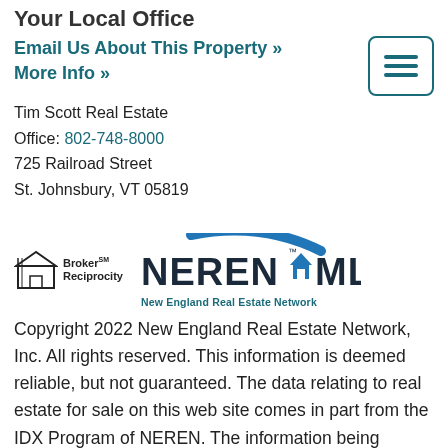Your Local Office
Email Us About This Property »
More Info »
Tim Scott Real Estate
Office: 802-748-8000
725 Railroad Street
St. Johnsbury, VT 05819
[Figure (logo): Broker Reciprocity logo and NEREN MLS - New England Real Estate Network logo]
Copyright 2022 New England Real Estate Network, Inc. All rights reserved. This information is deemed reliable, but not guaranteed. The data relating to real estate for sale on this web site comes in part from the IDX Program of NEREN. The information being provided is for consumers' personal, non-commercial use and may not be used for any purpose other than to identify prospective properties consumers may be interested in purchasing. Data last updated August 24, 2022 3:56